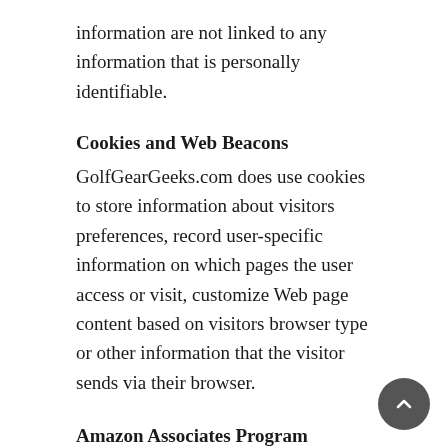information are not linked to any information that is personally identifiable.
Cookies and Web Beacons
GolfGearGeeks.com does use cookies to store information about visitors preferences, record user-specific information on which pages the user access or visit, customize Web page content based on visitors browser type or other information that the visitor sends via their browser.
Amazon Associates Program
golfgearggeeks.com is a participant in the Amazon Services LLC Associates Program,